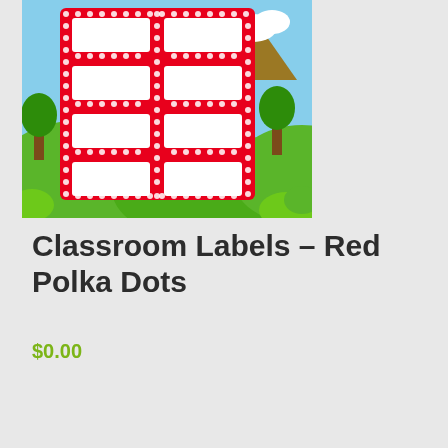[Figure (illustration): Product image showing red polka dot classroom labels (an 8-label sheet with 2 columns and 4 rows of white rectangular labels with red polka dot borders) overlaid on a cartoon outdoor background with green hills, trees, mountains, and blue sky with clouds.]
Classroom Labels – Red Polka Dots
$0.00
Add To Cart